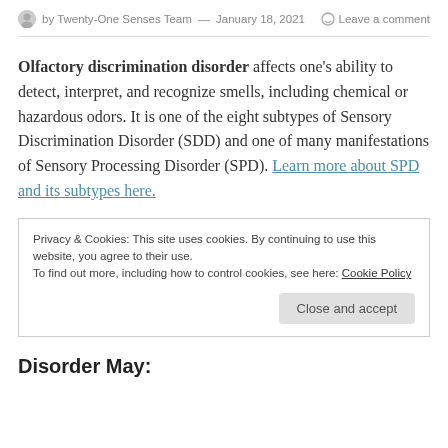by Twenty-One Senses Team — January 18, 2021
Olfactory discrimination disorder affects one's ability to detect, interpret, and recognize smells, including chemical or hazardous odors. It is one of the eight subtypes of Sensory Discrimination Disorder (SDD) and one of many manifestations of Sensory Processing Disorder (SPD). Learn more about SPD and its subtypes here.
Privacy & Cookies: This site uses cookies. By continuing to use this website, you agree to their use.
To find out more, including how to control cookies, see here: Cookie Policy
Close and accept
Disorder May: